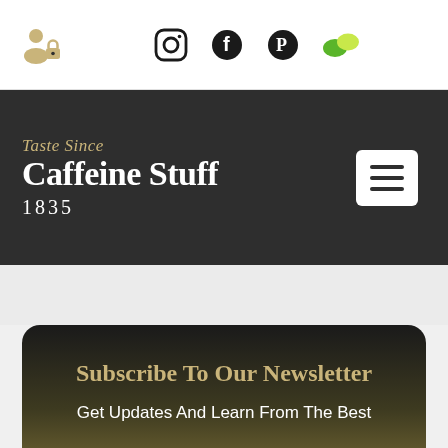[Figure (screenshot): Top navigation bar with user/lock icon on the left and Instagram, Facebook, Pinterest, and a green leaf social media icons in the center]
[Figure (logo): Caffeine Stuff brand logo on dark background with italic 'Taste Since', bold 'Caffeine Stuff', and '1835' text, plus a hamburger menu button on the right]
Subscribe To Our Newsletter
Get Updates And Learn From The Best